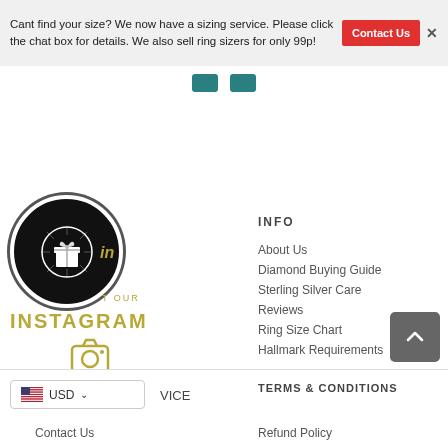Cant find your size? We now have a sizing service. Please click the chat box for details. We also sell ring sizers for only 99p!
[Figure (logo): Contact Us red button with X close icon]
[Figure (logo): Gift box icon in black circle - brand logo, with italic brand name overlay]
VISIT OUR
INSTAGRAM
[Figure (illustration): Instagram camera icon in gold/olive color]
INFO
About Us
Diamond Buying Guide
Sterling Silver Care
Reviews
Ring Size Chart
Hallmark Requirements
[Figure (logo): US flag icon with USD currency selector dropdown]
USD ˅
VICE
TERMS & CONDITIONS
Contact Us
Refund Policy